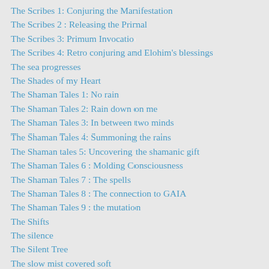The Scribes 1: Conjuring the Manifestation
The Scribes 2 : Releasing the Primal
The Scribes 3: Primum Invocatio
The Scribes 4: Retro conjuring and Elohim's blessings
The sea progresses
The Shades of my Heart
The Shaman Tales 1: No rain
The Shaman Tales 2: Rain down on me
The Shaman Tales 3: In between two minds
The Shaman Tales 4: Summoning the rains
The Shaman tales 5: Uncovering the shamanic gift
The Shaman Tales 6 : Molding Consciousness
The Shaman Tales 7 : The spells
The Shaman Tales 8 : The connection to GAIA
The Shaman Tales 9 : the mutation
The Shifts
The silence
The Silent Tree
The slow mist covered soft
The Snow falls